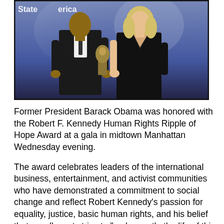[Figure (photo): A man in a dark suit and a woman in a black dress holding a bronze trophy/award statue at what appears to be the Robert F. Kennedy Human Rights event. Text visible at top: 'State of America']
Former President Barack Obama was honored with the Robert F. Kennedy Human Rights Ripple of Hope Award at a gala in midtown Manhattan Wednesday evening.
The award celebrates leaders of the international business, entertainment, and activist communities who have demonstrated a commitment to social change and reflect Robert Kennedy's passion for equality, justice, basic human rights, and his belief that we all must strive to "make gentle the life of this world."
"I'm not sure if you've heard, but I've been on this hope kick for a while now. Even ran a couple of campaigns on it. Thank you for officially validating my hope credentials," Obama said during his remarks.
The organization's president, Kerry Kennedy, presented the award, which celebrates leaders "who have demonstrated a